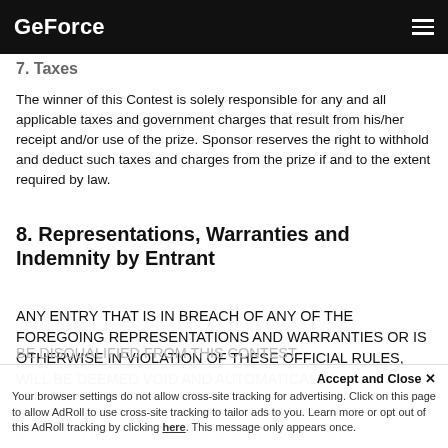GeForce
7. Taxes
The winner of this Contest is solely responsible for any and all applicable taxes and government charges that result from his/her receipt and/or use of the prize. Sponsor reserves the right to withhold and deduct such taxes and charges from the prize if and to the extent required by law.
8. Representations, Warranties and Indemnity by Entrant
ANY ENTRY THAT IS IN BREACH OF ANY OF THE FOREGOING REPRESENTATIONS AND WARRANTIES OR IS OTHERWISE IN VIOLATION OF THESE OFFICIAL RULES, WILL BE DEEMED VOID AND AUTOMATICALLY BE DISQUALIFIED FROM THIS CONTEST
Accept and Close ×
Your browser settings do not allow cross-site tracking for advertising. Click on this page to allow AdRoll to use cross-site tracking to tailor ads to you. Learn more or opt out of this AdRoll tracking by clicking here. This message only appears once.
9. ADDITIONAL AGREEMENTS by Entrant